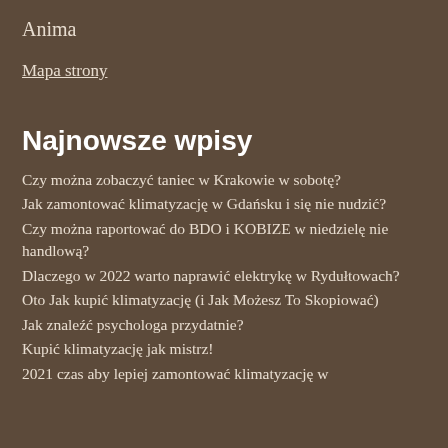Anima
Mapa strony
Najnowsze wpisy
Czy można zobaczyć taniec w Krakowie w sobotę?
Jak zamontować klimatyzację w Gdańsku i się nie nudzić?
Czy można raportować do BDO i KOBIZE w niedzielę nie handlową?
Dlaczego w 2022 warto naprawić elektrykę w Rydułtowach?
Oto Jak kupić klimatyzację (i Jak Możesz To Skopiować)
Jak znaleźć psychologa przydatnie?
Kupić klimatyzację jak mistrz!
2021 czas aby lepiej zamontować klimatyzację w